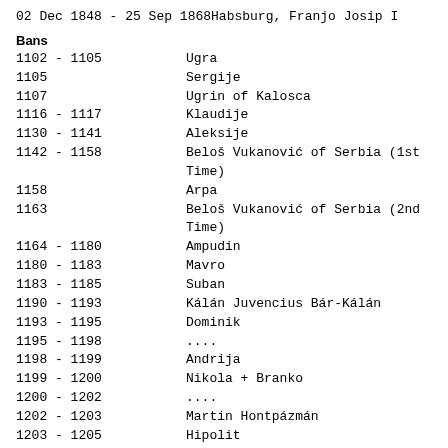02 Dec 1848 - 25 Sep 1868  Habsburg, Franjo Josip I
Bans
1102 - 1105  Ugra
1105  Sergije
1107  Ugrin of Kalosca
1116 - 1117  Klaudije
1130 - 1141  Aleksije
1142 - 1158  Beloš Vukanović of Serbia (1st Time)
1158  Arpa
1163  Beloš Vukanović of Serbia (2nd Time)
1164 - 1180  Ampudin
1180 - 1183  Mavro
1183 - 1185  Suban
1190 - 1193  Kálán Juvencius Bár-Kálán
1193 - 1195  Dominik
1195 - 1198  ....
1198 - 1199  Andrija
1199 - 1200  Nikola + Branko
1200 - 1202  ....
1202 - 1203  Martin Hontpázmán
1203 - 1205  Hipolit
1205 - 1206  Merkurije
1206 - 1208  Stjepan Mihaljević
1208 - 1209  Banko (1st Time)
1209  Tomo
1209 - 1211  Bertold VII Andrechs-Meranski
1211 - 1213  Mihajlo
1213  Gyula de Siklós (1st Time)